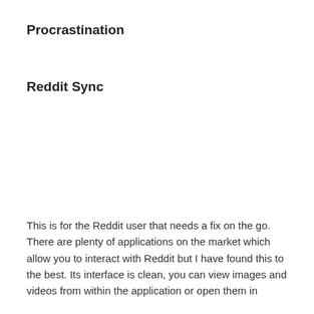Procrastination
Reddit Sync
This is for the Reddit user that needs a fix on the go. There are plenty of applications on the market which allow you to interact with Reddit but I have found this to the best. Its interface is clean, you can view images and videos from within the application or open them in